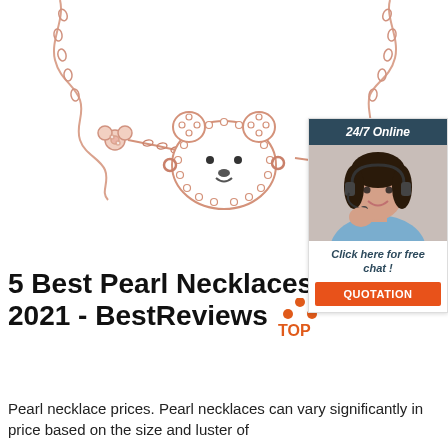[Figure (photo): Rose gold teddy bear necklace/bracelet with crystal-encrusted bear face pendant on a delicate chain, displayed on white background]
[Figure (infographic): 24/7 Online chat support advertisement widget with a smiling female customer service agent wearing a headset, blue-gray header reading '24/7 Online', italic text 'Click here for free chat!', and an orange button labeled 'QUOTATION']
5 Best Pearl Necklaces - Dec. 2021 - BestReviews
Pearl necklace prices. Pearl necklaces can vary significantly in price based on the size and luster of